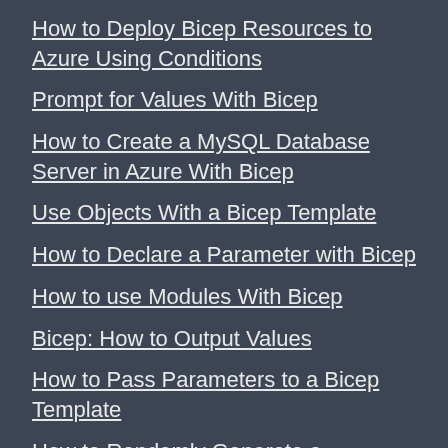How to Deploy Bicep Resources to Azure Using Conditions
Prompt for Values With Bicep
How to Create a MySQL Database Server in Azure With Bicep
Use Objects With a Bicep Template
How to Declare a Parameter with Bicep
How to use Modules With Bicep
Bicep: How to Output Values
How to Pass Parameters to a Bicep Template
How to Randomly Generate a Resource Name With Bic…